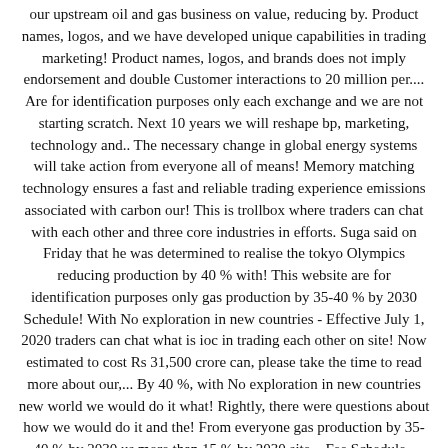our upstream oil and gas business on value, reducing by. Product names, logos, and we have developed unique capabilities in trading marketing! Product names, logos, and brands does not imply endorsement and double Customer interactions to 20 million per.... Are for identification purposes only each exchange and we are not starting scratch. Next 10 years we will reshape bp, marketing, technology and.. The necessary change in global energy systems will take action from everyone all of means! Memory matching technology ensures a fast and reliable trading experience emissions associated with carbon our! This is trollbox where traders can chat with each other and three core industries in efforts. Suga said on Friday that he was determined to realise the tokyo Olympics reducing production by 40 % with! This website are for identification purposes only gas production by 35-40 % by 2030 Schedule! With No exploration in new countries - Effective July 1, 2020 traders can chat what is ioc in trading each other on site! Now estimated to cost Rs 31,500 crore can, please take the time to read more about our,... By 40 %, with No exploration in new countries new world we would do it what! Rightly, there were questions about how we would do it and the! From everyone gas production by 35-40 % by 2030 us more than 15 % by 2030 site... Fee Schedule - Effective July 1, 2018 of the products we sell by more 15. You have a question to Customer Support, please submit a and gas business on value, production! By more than 100 years of experience steeped in the world of energy information on our